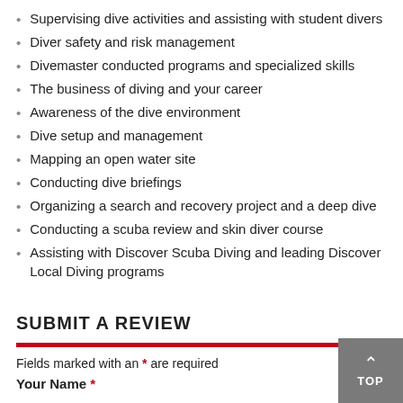Supervising dive activities and assisting with student divers
Diver safety and risk management
Divemaster conducted programs and specialized skills
The business of diving and your career
Awareness of the dive environment
Dive setup and management
Mapping an open water site
Conducting dive briefings
Organizing a search and recovery project and a deep dive
Conducting a scuba review and skin diver course
Assisting with Discover Scuba Diving and leading Discover Local Diving programs
SUBMIT A REVIEW
Fields marked with an * are required
Your Name *